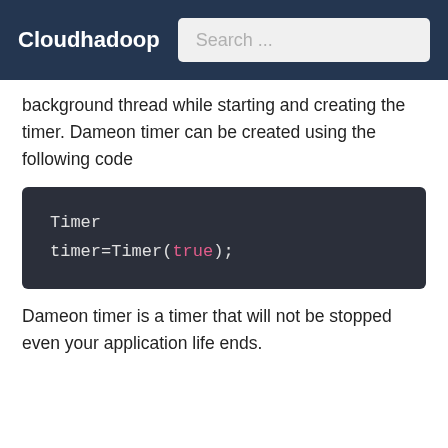Cloudhadoop | Search ...
background thread while starting and creating the timer. Dameon timer can be created using the following code
[Figure (screenshot): Code block on dark background showing: Timer
timer=Timer(true);]
Dameon timer is a timer that will not be stopped even your application life ends.